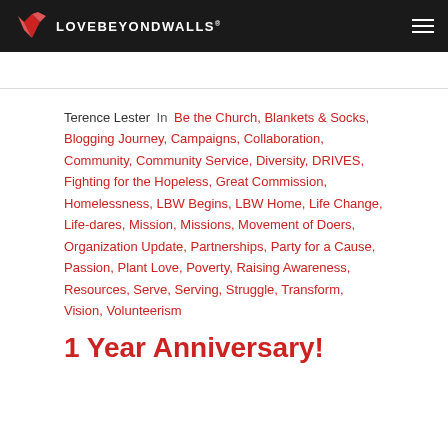LOVEBEYONDWALLS
Terence Lester In Be the Church, Blankets & Socks, Blogging Journey, Campaigns, Collaboration, Community, Community Service, Diversity, DRIVES, Fighting for the Hopeless, Great Commission, Homelessness, LBW Begins, LBW Home, Life Change, Life-dares, Mission, Missions, Movement of Doers, Organization Update, Partnerships, Party for a Cause, Passion, Plant Love, Poverty, Raising Awareness, Resources, Serve, Serving, Struggle, Transform, Vision, Volunteerism
1 Year Anniversary!